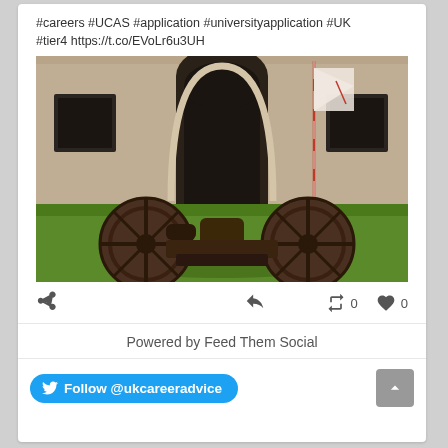#careers #UCAS #application #universityapplication #UK #tier4 https://t.co/EVoLr6u3UH
[Figure (photo): Photograph of an old cannon on green grass in front of a historic stone building with an arched doorway and a flag on a pole]
Powered by Feed Them Social
Follow @ukcareeradvice